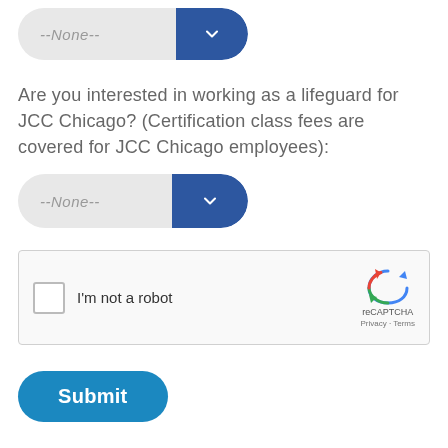[Figure (screenshot): Dropdown select input showing --None-- with blue chevron button]
Are you interested in working as a lifeguard for JCC Chicago? (Certification class fees are covered for JCC Chicago employees):
[Figure (screenshot): Dropdown select input showing --None-- with blue chevron button]
[Figure (screenshot): reCAPTCHA widget with checkbox, 'I'm not a robot' label, and reCAPTCHA logo with Privacy and Terms links]
[Figure (screenshot): Submit button in teal/blue rounded pill style]